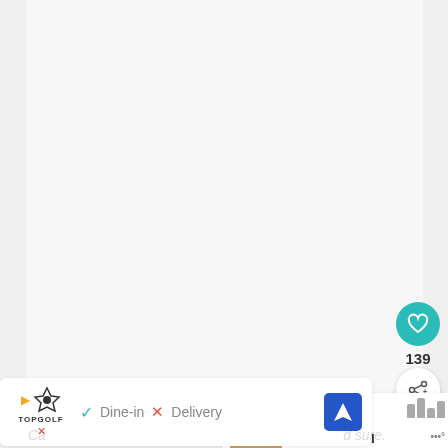[Figure (screenshot): Screenshot of a recipe website UI showing a large blank/white content area, a teal heart/favorite button with count 139, a share button, a 'What's Next' card for Pumpkin Streusel Bread, weather widgets, an advertisement bar for TopGolf with Dine-in and Delivery options, and a navigation icon.]
139
WHAT'S NEXT → Pumpkin Streusel Bread
Dine-in  ✓   Delivery  ✗